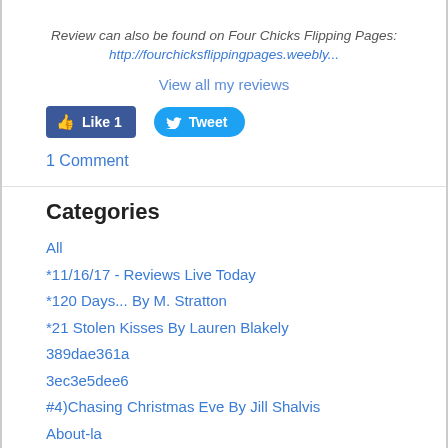Review can also be found on Four Chicks Flipping Pages:
http://fourchicksflippingpages.weebly...
View all my reviews
[Figure (other): Facebook Like button showing Like 1 and Twitter Tweet button]
1 Comment
Categories
All
*11/16/17 - Reviews Live Today
*120 Days... By M. Stratton
*21 Stolen Kisses By Lauren Blakely
389dae361a
3ec3e5dee6
#4)Chasing Christmas Eve By Jill Shalvis
About-la
*Absolution Road By Rachel Blaufeld
*ACE By Lyra Parish